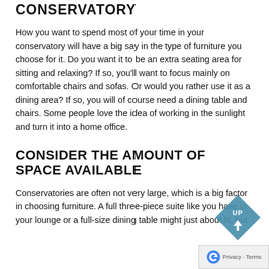CONSERVATORY
How you want to spend most of your time in your conservatory will have a big say in the type of furniture you choose for it. Do you want it to be an extra seating area for sitting and relaxing? If so, you'll want to focus mainly on comfortable chairs and sofas. Or would you rather use it as a dining area? If so, you will of course need a dining table and chairs. Some people love the idea of working in the sunlight and turn it into a home office.
CONSIDER THE AMOUNT OF SPACE AVAILABLE
Conservatories are often not very large, which is a big factor in choosing furniture. A full three-piece suite like you have in your lounge or a full-size dining table might just about fit, but